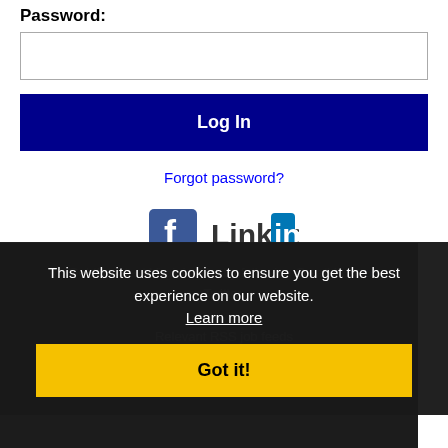Password:
[Password input field]
Log In
Forgot password?
[Figure (logo): Facebook and LinkedIn social login icons]
Get the latest Virginia jobs by following GreatVA on Twitter.
Relevant RSS job feeds
This website uses cookies to ensure you get the best experience on our website. Learn more
Got it!